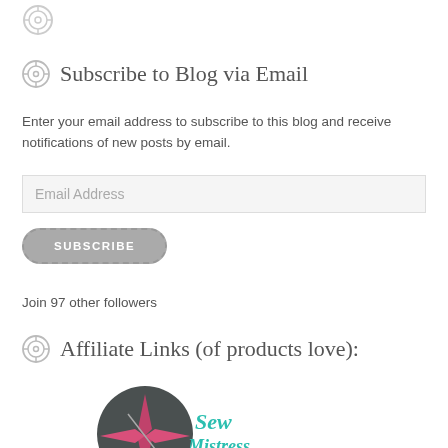[Figure (illustration): Small circular button/sewing button icon at top of page]
Subscribe to Blog via Email
Enter your email address to subscribe to this blog and receive notifications of new posts by email.
[Figure (other): Email Address input field placeholder]
[Figure (other): SUBSCRIBE button with dashed border rounded rectangle]
Join 97 other followers
Affiliate Links (of products love):
[Figure (logo): Sew Mistress logo — dark circle with pink star/needle and teal cursive text reading Sew Mistress]